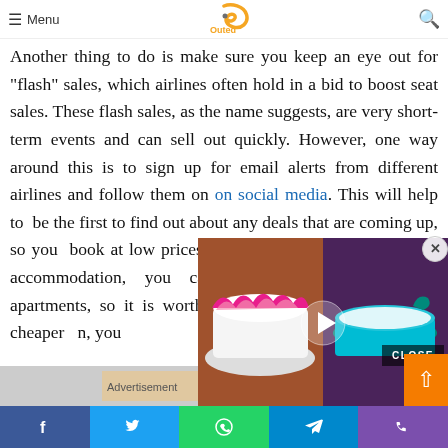Menu | [Logo: Outed] | [Search icon]
Another thing to do is make sure you keep an eye out for "flash" sales, which airlines often hold in a bid to boost seat sales. These flash sales, as the name suggests, are very short-term events and can sell out quickly. However, one way around this is to sign up for email alerts from different airlines and follow them on social media. This will help to be the first to find out about any deals that are coming up, so you can book at low prices before they sell out. In terms of accommodation, you can choose from hotels and apartments, so it is worth checking which will work out cheaper when you
[Figure (screenshot): Embedded video overlay showing two cake decorating images with a play button in the center]
[Figure (screenshot): Close button overlay and orange scroll-to-top button]
[Figure (screenshot): Bottom social share bar with Facebook, Twitter, WhatsApp, Telegram, and Phone icons]